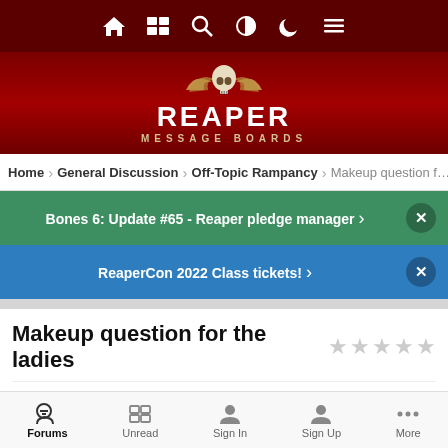Reaper Message Boards - top navigation bar with home, news, search, contrast, night mode, menu icons
[Figure (logo): Reaper Message Boards logo: skull with wings on dark red background, text REAPER MESSAGE BOARDS]
Home > General Discussion > Off-Topic Rampancy > Makeup question f...
Bones 6: Update #65 - Reaper pledge manager >
ReaperCon 2022 Class tickets! >
Makeup question for the ladies
By Lastman
Forums | Unread | Sign In | Sign Up | More